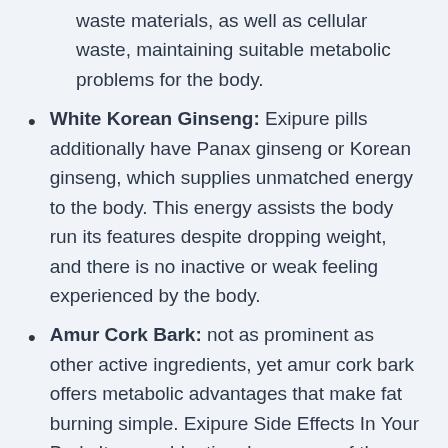waste materials, as well as cellular waste, maintaining suitable metabolic problems for the body.
White Korean Ginseng: Exipure pills additionally have Panax ginseng or Korean ginseng, which supplies unmatched energy to the body. This energy assists the body run its features despite dropping weight, and there is no inactive or weak feeling experienced by the body.
Amur Cork Bark: not as prominent as other active ingredients, yet amur cork bark offers metabolic advantages that make fat burning simple. Exipure Side Effects In Your Body It eases bloating, looseness of the bowels, cramps, nausea or vomiting, unwanted gas,